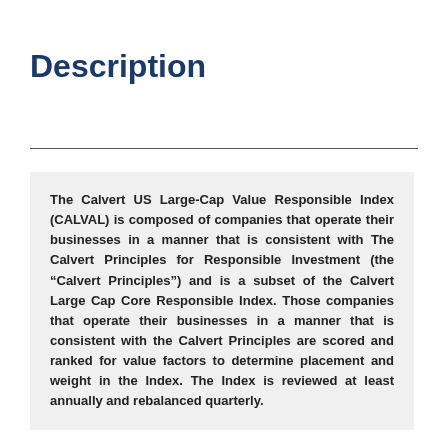Description
The Calvert US Large-Cap Value Responsible Index (CALVAL) is composed of companies that operate their businesses in a manner that is consistent with The Calvert Principles for Responsible Investment (the “Calvert Principles”) and is a subset of the Calvert Large Cap Core Responsible Index. Those companies that operate their businesses in a manner that is consistent with the Calvert Principles are scored and ranked for value factors to determine placement and weight in the Index. The Index is reviewed at least annually and rebalanced quarterly.